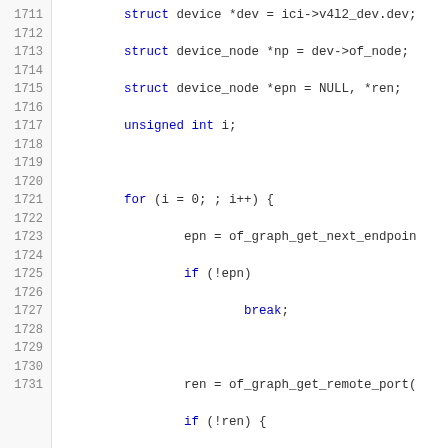[Figure (screenshot): Source code snippet in C showing lines 1711-1731 with syntax highlighting. Line numbers in gray on the left, code on the right with keywords in blue, strings in green, and comments in red.]